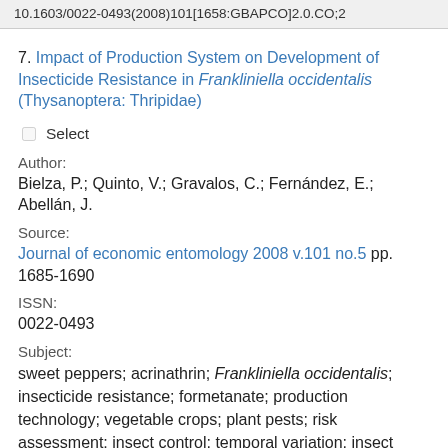10.1603/0022-0493(2008)101[1658:GBAPCO]2.0.CO;2
7. Impact of Production System on Development of Insecticide Resistance in Frankliniella occidentalis (Thysanoptera: Thripidae)
☐ Select
Author:
Bielza, P.; Quinto, V.; Gravalos, C.; Fernández, E.; Abellán, J.
Source:
Journal of economic entomology 2008 v.101 no.5 pp. 1685-1690
ISSN:
0022-0493
Subject:
sweet peppers; acrinathrin; Frankliniella occidentalis; insecticide resistance; formetanate; production technology; vegetable crops; plant pests; risk assessment; insect control; temporal variation; insect pests; evolution;